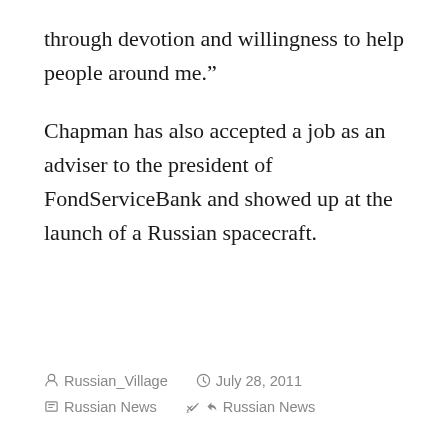through devotion and willingness to help people around me.”
Chapman has also accepted a job as an adviser to the president of FondServiceBank and showed up at the launch of a Russian spacecraft.
Russian_Village   July 28, 2011   Russian News   Russian News